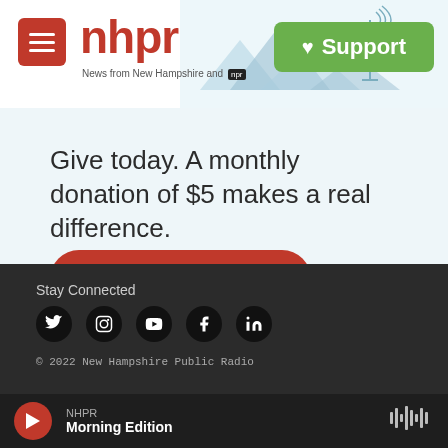nhpr — News from New Hampshire and NPR | Support
Give today. A monthly donation of $5 makes a real difference.
Support NHPR
Stay Connected
© 2022 New Hampshire Public Radio
NHPR Morning Edition